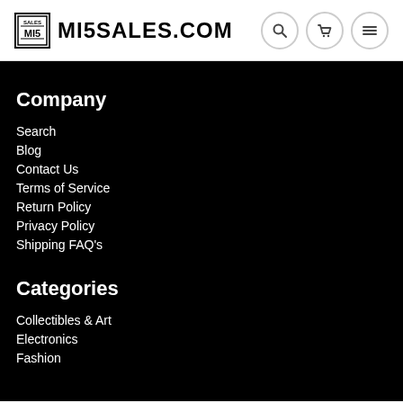MI5SALES.COM
Company
Search
Blog
Contact Us
Terms of Service
Return Policy
Privacy Policy
Shipping FAQ's
Categories
Collectibles & Art
Electronics
Fashion